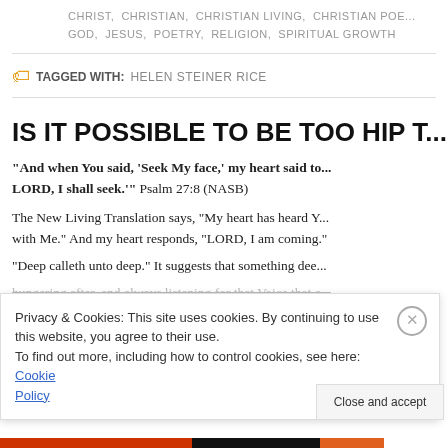CHRIST,  CHRISTIAN,  CHRISTIAN LIVING,  CHRISTIAN POE... GOD,  JESUS,  POETRY,  RELIGION,  SPIRITUAL GROWTH
TAGGED WITH: HELEN STEINER RICE
IS IT POSSIBLE TO BE TOO HIP T...
“And when You said, ‘Seek My face,’ my heart said to... LORD, I shall seek.’” Psalm 27:8 (NASB)
The New Living Translation says, “My heart has heard Y... with Me.” And my heart responds, “LORD, I am coming.”
“Deep calleth unto deep.” It suggests that something dee...
hungering after, and always listening for that Voice that c...
Privacy & Cookies: This site uses cookies. By continuing to use this website, you agree to their use.
To find out more, including how to control cookies, see here: Cookie Policy
Close and accept